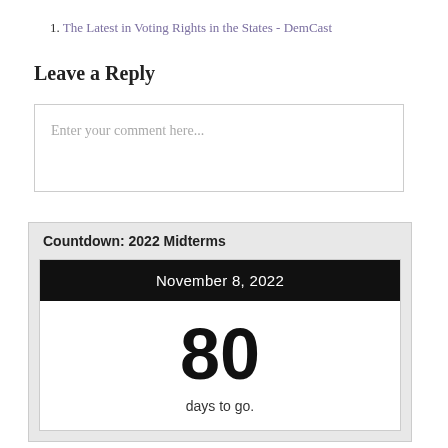1. The Latest in Voting Rights in the States - DemCast
Leave a Reply
Enter your comment here...
Countdown: 2022 Midterms
November 8, 2022
80
days to go.